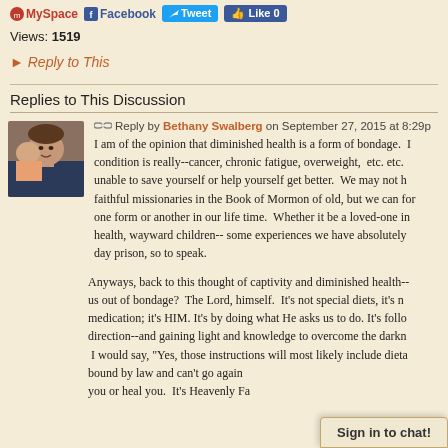MySpace  Facebook  Tweet  Like 0
Views: 1519
► Reply to This
Replies to This Discussion
Reply by Bethany Swalberg on September 27, 2015 at 8:29p
I am of the opinion that diminished health is a form of bondage. condition is really--cancer, chronic fatigue, overweight, etc. etc. unable to save yourself or help yourself get better. We may not h faithful missionaries in the Book of Mormon of old, but we can for one form or another in our life time. Whether it be a loved-one in health, wayward children-- some experiences we have absolutely day prison, so to speak.
Anyways, back to this thought of captivity and diminished health-- us out of bondage? The Lord, himself. It's not special diets, it's n medication; it's HIM. It's by doing what He asks us to do. It's follo direction--and gaining light and knowledge to overcome the darkn I would say, "Yes, those instructions will most likely include dieta bound by law and can't go against nature." But always someone a you or heal you. It's Heavenly Fa...